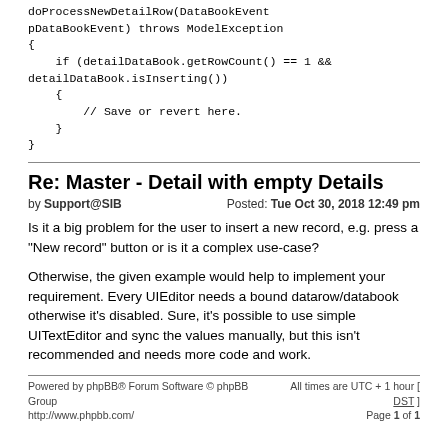doProcessNewDetailRow(DataBookEvent pDataBookEvent) throws ModelException
{
    if (detailDataBook.getRowCount() == 1 &&
detailDataBook.isInserting())
    {
        // Save or revert here.
    }
}
Re: Master - Detail with empty Details
by Support@SIB   Posted: Tue Oct 30, 2018 12:49 pm
Is it a big problem for the user to insert a new record, e.g. press a "New record" button or is it a complex use-case?
Otherwise, the given example would help to implement your requirement. Every UIEditor needs a bound datarow/databook otherwise it's disabled. Sure, it's possible to use simple UITextEditor and sync the values manually, but this isn't recommended and needs more code and work.
Powered by phpBB® Forum Software © phpBB Group
http://www.phpbb.com/     All times are UTC + 1 hour [ DST ]
Page 1 of 1